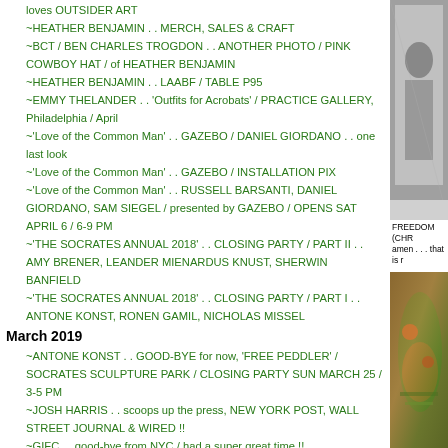loves OUTSIDER ART
~HEATHER BENJAMIN . . MERCH, SALES & CRAFT
~BCT / BEN CHARLES TROGDON . . ANOTHER PHOTO / PINK COWBOY HAT / of HEATHER BENJAMIN
~HEATHER BENJAMIN . . LAABF / TABLE P95
~EMMY THELANDER . . 'Outfits for Acrobats' / PRACTICE GALLERY, Philadelphia / April
~'Love of the Common Man' . . GAZEBO / DANIEL GIORDANO . . one last look
~'Love of the Common Man' . . GAZEBO / INSTALLATION PIX
~'Love of the Common Man' . . RUSSELL BARSANTI, DANIEL GIORDANO, SAM SIEGEL / presented by GAZEBO / OPENS SAT APRIL 6 / 6-9 PM
~'THE SOCRATES ANNUAL 2018' . . CLOSING PARTY / PART II . . AMY BRENER, LEANDER MIENARDUS KNUST, SHERWIN BANFIELD
~'THE SOCRATES ANNUAL 2018' . . CLOSING PARTY / PART I . . ANTONE KONST, RONEN GAMIL, NICHOLAS MISSEL
March 2019
~ANTONE KONST . . GOOD-BYE for now, 'FREE PEDDLER' / SOCRATES SCULPTURE PARK / CLOSING PARTY SUN MARCH 25 / 3-5 PM
~JOSH HARRIS . . scoops up the press, NEW YORK POST, WALL STREET JOURNAL & WIRED !!
~GIFC . . good-bye from NYC / had a super great time !!
~GIFC . . THE HOLE / ARMORY EDITION /TO-DAY . . SUN MARCH 10 / 5 – 8 PM
~ANTONE KONST . . DISTURB THE NEIGHBORS
~SCHOONY . . DISTASSI X CONTRA / POPPIN' MAD . . GREAT !! / & BIG PARTY TO-NITE SAT MARCH 9
~SCHOONY !! . . at CONTRA / OPENS TO-NITE / THURS MARCH 7
~MY . . INTERVIEW / on WHITEHOT MAGAZINE – BY NOAH BECKER
~MADAME ROSA'S 80s ART PARTY / CONTRA / PARTY PIX II
[Figure (photo): Top right: black and white photo of a person]
FREEDOM (CHR
amen . . . that is r
[Figure (photo): Bottom right: colorful artwork with green and orange tones]